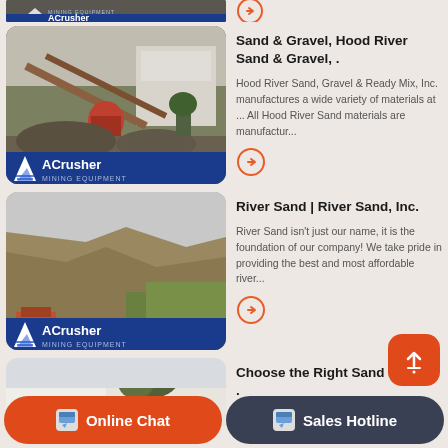[Figure (screenshot): Partial top of a card showing an ACrusher mining equipment image, cropped at the top edge]
[Figure (photo): Mining/quarry processing facility with conveyor belts and machinery, ACrusher MINING EQUIPMENT badge overlay at bottom]
Sand & Gravel, Hood River Sand & Gravel, .
Hood River Sand, Gravel & Ready Mix, Inc. manufactures a wide variety of materials at ... All Hood River Sand materials are manufactur...
[Figure (photo): Quarry cliff face with excavation site and green fields in background, ACrusher MINING EQUIPMENT badge overlay at bottom]
River Sand | River Sand, Inc.
River Sand isn't just our name, it is the foundation of our company! We take pride in providing the best and most affordable river...
[Figure (photo): Partial image of tree and white background for third card]
Choose the Right Sand for your .
Online Chat
Sales Hotline